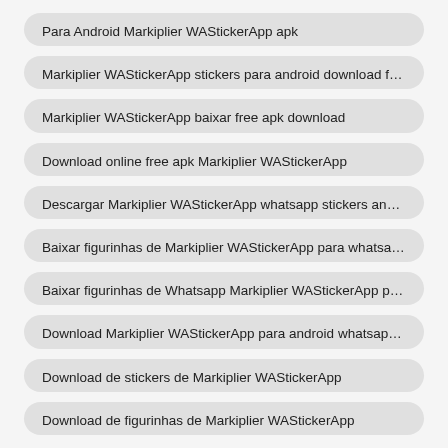Para Android Markiplier WAStickerApp apk
Markiplier WAStickerApp stickers para android download free
Markiplier WAStickerApp baixar free apk download
Download online free apk Markiplier WAStickerApp
Descargar Markiplier WAStickerApp whatsapp stickers android a...
Baixar figurinhas de Markiplier WAStickerApp para whatsapp and...
Baixar figurinhas de Whatsapp Markiplier WAStickerApp para wh...
Download Markiplier WAStickerApp para android whatsapp apk
Download de stickers de Markiplier WAStickerApp
Download de figurinhas de Markiplier WAStickerApp